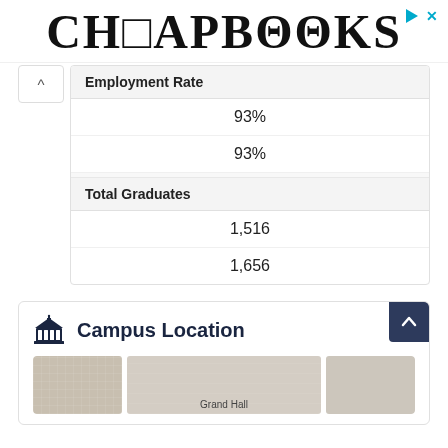[Figure (logo): CheapBooks logo in bold serif font]
Employment Rate
93%
93%
Total Graduates
1,516
1,656
Campus Location
[Figure (photo): Map tiles showing campus location, with Grand Hall label visible]